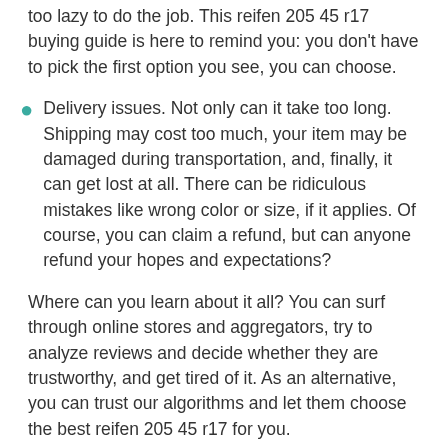too lazy to do the job. This reifen 205 45 r17 buying guide is here to remind you: you don't have to pick the first option you see, you can choose.
Delivery issues. Not only can it take too long. Shipping may cost too much, your item may be damaged during transportation, and, finally, it can get lost at all. There can be ridiculous mistakes like wrong color or size, if it applies. Of course, you can claim a refund, but can anyone refund your hopes and expectations?
Where can you learn about it all? You can surf through online stores and aggregators, try to analyze reviews and decide whether they are trustworthy, and get tired of it. As an alternative, you can trust our algorithms and let them choose the best reifen 205 45 r17 for you.
How We Rate Each reifen 205 45